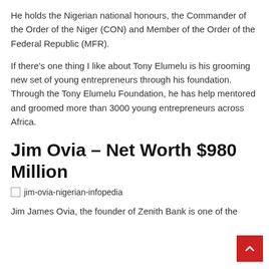He holds the Nigerian national honours, the Commander of the Order of the Niger (CON) and Member of the Order of the Federal Republic (MFR).
If there's one thing I like about Tony Elumelu is his grooming new set of young entrepreneurs through his foundation. Through the Tony Elumelu Foundation, he has help mentored and groomed more than 3000 young entrepreneurs across Africa.
Jim Ovia – Net Worth $980 Million
[Figure (photo): Broken image placeholder labeled 'jim-ovia-nigerian-infopedia']
Jim James Ovia, the founder of Zenith Bank is one of the